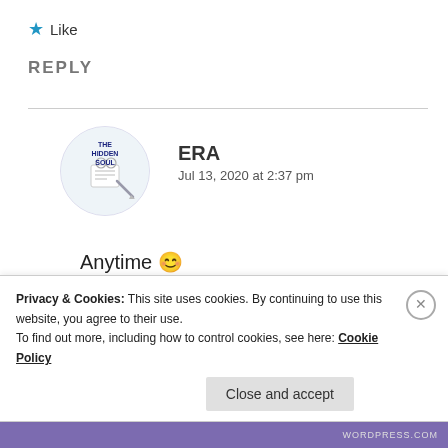★ Like
REPLY
[Figure (illustration): Circular avatar with 'THE HIDDEN SOUL' text and pen illustration on white background]
ERA
Jul 13, 2020 at 2:37 pm
Anytime 😊
★ Liked by 1 person
Privacy & Cookies: This site uses cookies. By continuing to use this website, you agree to their use.
To find out more, including how to control cookies, see here: Cookie Policy
Close and accept